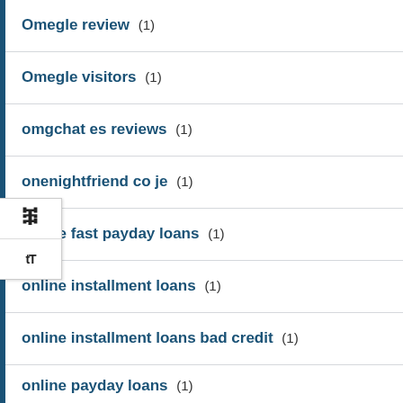Omegle review (1)
Omegle visitors (1)
omgchat es reviews (1)
onenightfriend co je (1)
online fast payday loans (1)
online installment loans (1)
online installment loans bad credit (1)
online payday loans (1)